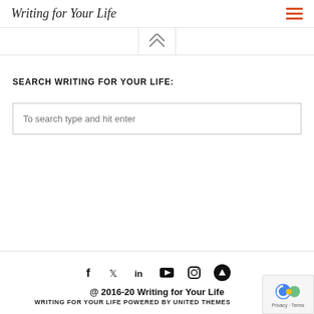Writing for Your Life
SEARCH WRITING FOR YOUR LIFE:
To search type and hit enter
@ 2016-20 Writing for Your Life
WRITING FOR YOUR LIFE POWERED BY UNITED THEMES